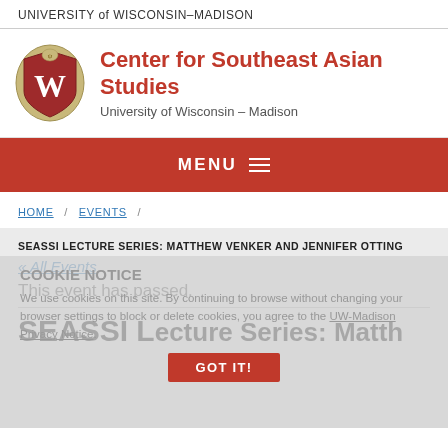UNIVERSITY of WISCONSIN–MADISON
[Figure (logo): University of Wisconsin–Madison crest/shield logo with red W]
Center for Southeast Asian Studies
University of Wisconsin – Madison
MENU
HOME / EVENTS /
SEASSI LECTURE SERIES: MATTHEW VENKER AND JENNIFER OTTING
COOKIE NOTICE
We use cookies on this site. By continuing to browse without changing your browser settings to block or delete cookies, you agree to the UW-Madison Privacy Notice.
GOT IT!
« All Events
This event has passed.
SEASSI Lecture Series: Matth…